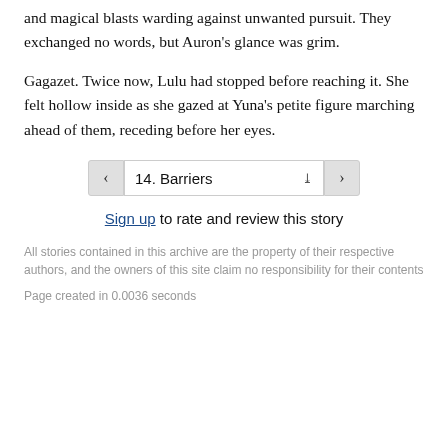and magical blasts warding against unwanted pursuit. They exchanged no words, but Auron's glance was grim.
Gagazet. Twice now, Lulu had stopped before reaching it. She felt hollow inside as she gazed at Yuna's petite figure marching ahead of them, receding before her eyes.
‹  14. Barriers  ›
Sign up to rate and review this story
All stories contained in this archive are the property of their respective authors, and the owners of this site claim no responsibility for their contents
Page created in 0.0036 seconds